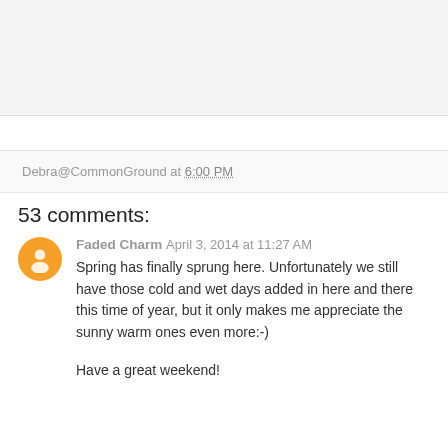[Figure (other): Top image area (gray/empty image placeholder)]
Debra@CommonGround at 6:00 PM
53 comments:
Faded Charm  April 3, 2014 at 11:27 AM
Spring has finally sprung here. Unfortunately we still have those cold and wet days added in here and there this time of year, but it only makes me appreciate the sunny warm ones even more:-)
Have a great weekend!